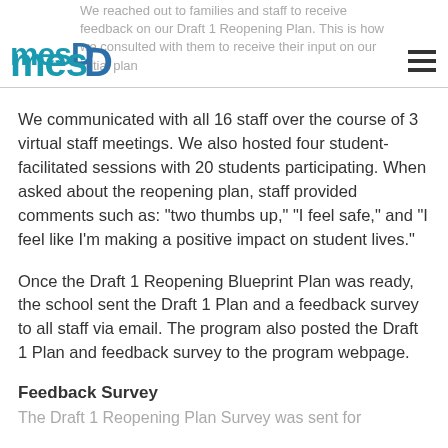We reached out to families and staff to receive feedback on our Draft 1 Reopening Plan. This is how we consulted with them to receive their input on our initial plan
[Figure (logo): MESD logo in teal/blue text]
We communicated with all 16 staff over the course of 3 virtual staff meetings. We also hosted four student-facilitated sessions with 20 students participating. When asked about the reopening plan, staff provided comments such as: "two thumbs up," "I feel safe," and "I feel like I'm making a positive impact on student lives."
Once the Draft 1 Reopening Blueprint Plan was ready, the school sent the Draft 1 Plan and a feedback survey to all staff via email. The program also posted the Draft 1 Plan and feedback survey to the program webpage.
Feedback Survey
The Draft 1 Reopening Plan Survey was sent for